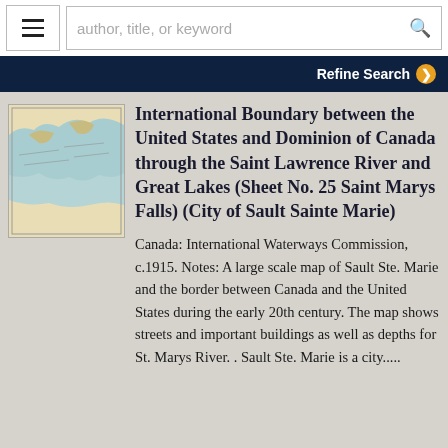author, title, or keyword [search bar] [Refine Search]
[Figure (map): A small thumbnail map showing the Great Lakes / Saint Lawrence River region with water bodies in light blue and land in tan/beige tones.]
International Boundary between the United States and Dominion of Canada through the Saint Lawrence River and Great Lakes (Sheet No. 25 Saint Marys Falls) (City of Sault Sainte Marie)
Canada: International Waterways Commission, c.1915. Notes: A large scale map of Sault Ste. Marie and the border between Canada and the United States during the early 20th century. The map shows streets and important buildings as well as depths for St. Marys River. . Sault Ste. Marie is a city.....